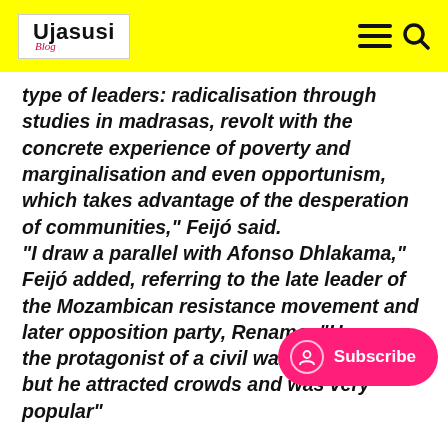Ujasusi Blog
type of leaders: radicalisation through studies in madrasas, revolt with the concrete experience of poverty and marginalisation and even opportunism, which takes advantage of the desperation of communities," Feijó said. "I draw a parallel with Afonso Dhlakama," Feijó added, referring to the late leader of the Mozambican resistance movement and later opposition party, Renamo. "He was the protagonist of a civil war tea... country, but he attracted crowds and was very popular"